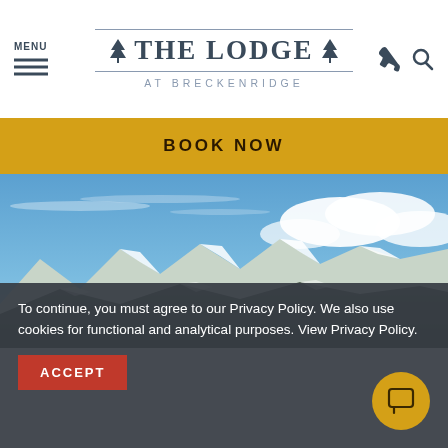MENU | THE LODGE AT BRECKENRIDGE
BOOK NOW
[Figure (photo): Panoramic mountain landscape with snow-capped peaks under a blue sky with clouds — Breckenridge area scenery.]
To continue, you must agree to our Privacy Policy. We also use cookies for functional and analytical purposes. View Privacy Policy.
ACCEPT